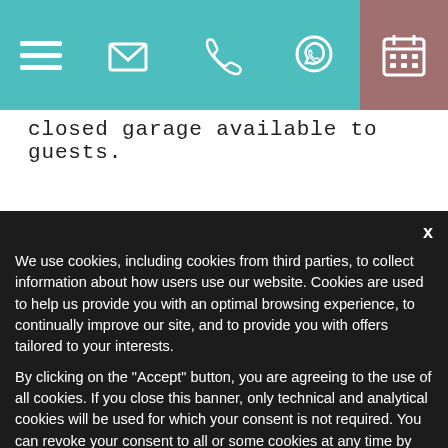Navigation bar with hamburger menu, email, phone, WhatsApp, and calendar icons
closed garage available to guests.
[Figure (photo): Two rounded-corner photo thumbnails of a house/building exterior with blue sky]
x
We use cookies, including cookies from third parties, to collect information about how users use our website. Cookies are used to help us provide you with an optimal browsing experience, to continually improve our site, and to provide you with offers tailored to your interests.

By clicking on the "Accept" button, you are agreeing to the use of all cookies. If you close this banner, only technical and analytical cookies will be used for which your consent is not required. You can revoke your consent to all or some cookies at any time by clicking on the "Cookie Preferences" button, also accessible in the footer of the site. Detailed information on the use of cookies can be found in our privacy and cookie policy.
Cookie preferences
✓ accept